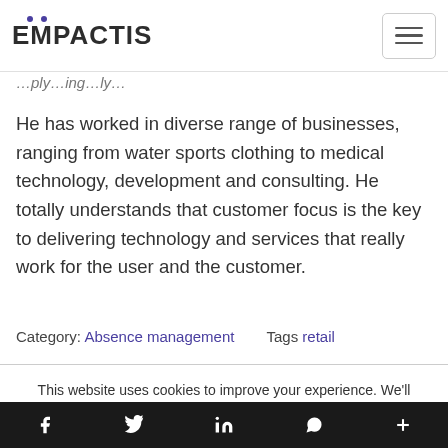EMPACTIS
He has worked in diverse range of businesses, ranging from water sports clothing to medical technology, development and consulting. He totally understands that customer focus is the key to delivering technology and services that really work for the user and the customer.
Category: Absence management   Tags retail
This website uses cookies to improve your experience. We'll assume you're ok with this, but you can opt-out if you wish.
Cookie settings  ACCEPT  [social icons: facebook, twitter, linkedin, whatsapp, more]